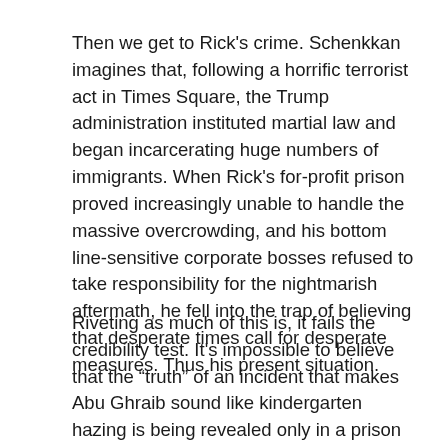Then we get to Rick's crime. Schenkkan imagines that, following a horrific terrorist act in Times Square, the Trump administration instituted martial law and began incarcerating huge numbers of immigrants. When Rick's for-profit prison proved increasingly unable to handle the massive overcrowding, and his bottom line-sensitive corporate bosses refused to take responsibility for the nightmarish aftermath, he fell into the trap of believing that desperate times call for desperate measures. Thus his present situation.
Riveting as much of this is, it fails the credibility test. It's impossible to believe that the “truth” of an incident that makes Abu Ghraib sound like kindergarten hazing is being revealed only in a prison interview with an academic. Did Trump jail the entire media along with the immigrants? It's